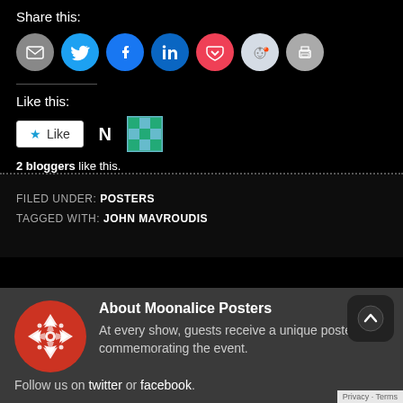Share this:
[Figure (infographic): Row of social sharing buttons: email (grey circle), Twitter (cyan circle), Facebook (blue circle), LinkedIn (dark blue circle), Pocket (red circle), Reddit (light circle), Print (grey circle)]
Like this:
[Figure (infographic): Like button widget with star icon and 'Like', followed by 'N' avatar and a green pattern avatar]
2 bloggers like this.
FILED UNDER: POSTERS
TAGGED WITH: JOHN MAVROUDIS
About Moonalice Posters
[Figure (logo): Moonalice circular red and white geometric logo]
At every show, guests receive a unique poster commemorating the event.
Follow us on twitter or facebook.